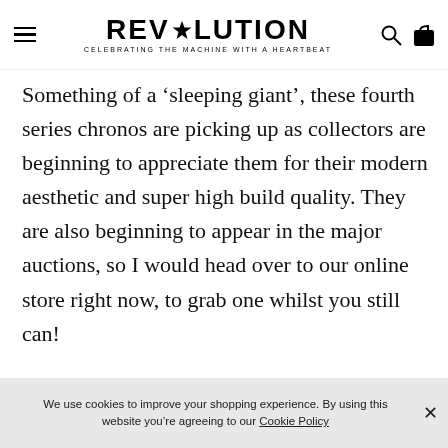REVOLUTION — CELEBRATING THE MACHINE WITH A HEARTBEAT
Something of a ‘sleeping giant’, these fourth series chronos are picking up as collectors are beginning to appreciate them for their modern aesthetic and super high build quality. They are also beginning to appear in the major auctions, so I would head over to our online store right now, to grab one whilst you still can!
We use cookies to improve your shopping experience. By using this website you're agreeing to our Cookie Policy